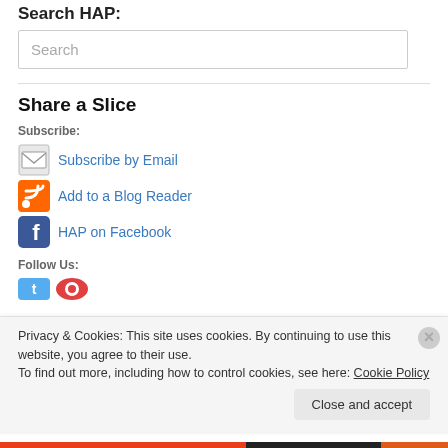Search HAP:
Search
Share a Slice
Subscribe:
Subscribe by Email
Add to a Blog Reader
HAP on Facebook
Follow Us:
Privacy & Cookies: This site uses cookies. By continuing to use this website, you agree to their use.
To find out more, including how to control cookies, see here: Cookie Policy
Close and accept